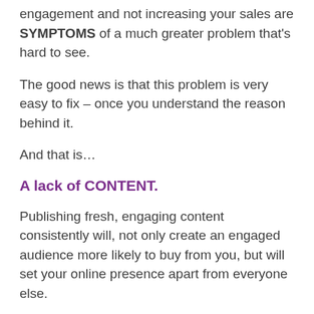engagement and not increasing your sales are SYMPTOMS of a much greater problem that's hard to see.
The good news is that this problem is very easy to fix – once you understand the reason behind it.
And that is…
A lack of CONTENT.
Publishing fresh, engaging content consistently will, not only create an engaged audience more likely to buy from you, but will set your online presence apart from everyone else.
With this The Power of Routines PLR Content